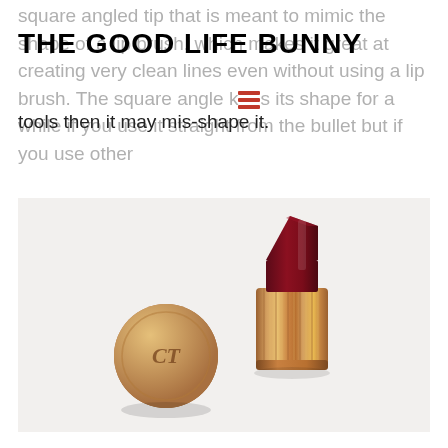THE GOOD LIFE BUNNY
square angled tip that is meant to mimic the shape of a lip brush, which makes it great at creating very clean lines even without using a lip brush. The square angle keeps its shape for a while if you use it straight from the bullet but if you use other tools then it may mis-shape it.
[Figure (photo): Charlotte Tilbury lipstick in dark red/berry shade with gold ribbed tube and separate gold cap with CT monogram, lying on a white surface.]